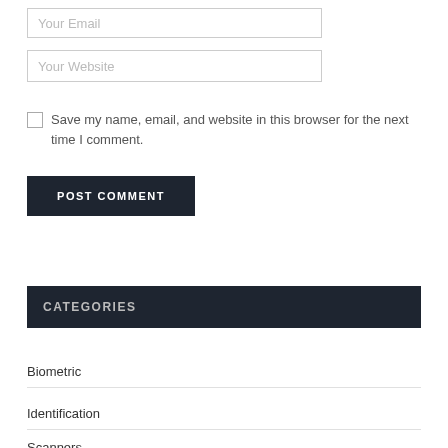Your Email
Your Website
Save my name, email, and website in this browser for the next time I comment.
POST COMMENT
CATEGORIES
Biometric
Identification
Scanners